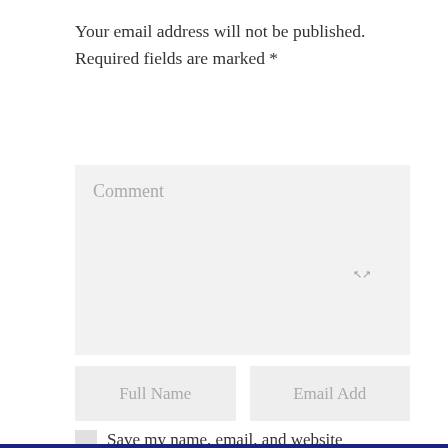Your email address will not be published. Required fields are marked *
Comment
Full Name
Email Add
Save my name, email, and website